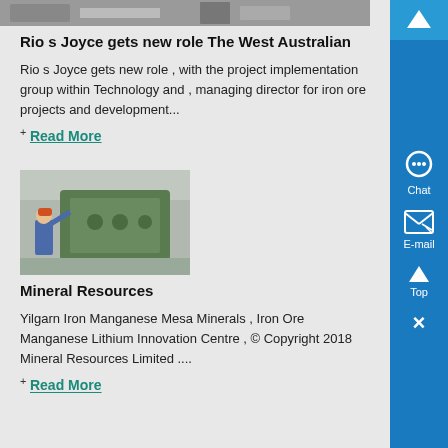[Figure (photo): Top portion of an industrial/factory image, partially visible at the top of the page]
Rio s Joyce gets new role The West Australian
Rio s Joyce gets new role , with the project implementation group within Technology and , managing director for iron ore projects and development...
+ Read More
[Figure (photo): Worker in blue uniform and orange hard hat operating large green industrial machinery in a factory]
Mineral Resources
Yilgarn Iron Manganese Mesa Minerals , Iron Ore Manganese Lithium Innovation Centre , © Copyright 2018 Mineral Resources Limited ....
+ Read More